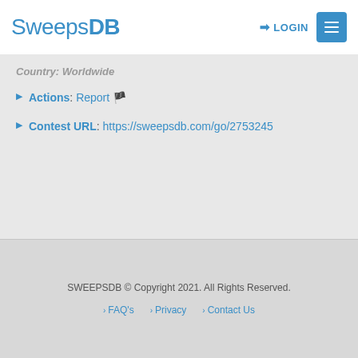SweepsDB LOGIN ☰
Country: Worldwide
Actions: Report 🏴
Contest URL: https://sweepsdb.com/go/2753245
SWEEPSDB © Copyright 2021. All Rights Reserved. › FAQ's › Privacy › Contact Us